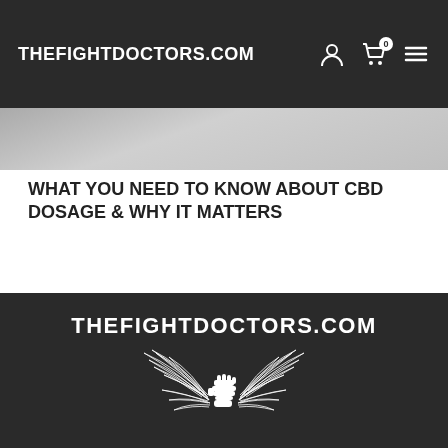THEFIGHTDOCTORS.COM
[Figure (photo): Partial hero banner image, appears to be a cropped photograph with grey tones]
WHAT YOU NEED TO KNOW ABOUT CBD DOSAGE & WHY IT MATTERS
August 10, 2022  •  CBD, Uncategorized
[Figure (logo): THEFIGHTDOCTORS.COM logo with winged fist graphic on dark background]